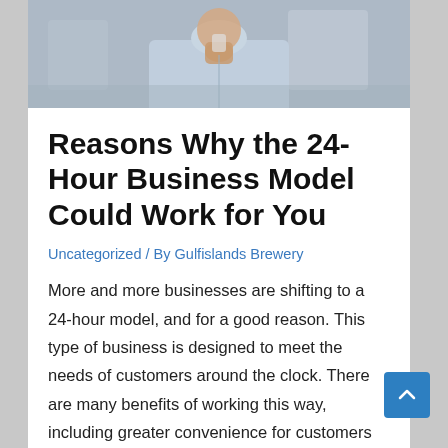[Figure (photo): Partial photo of a person in a light blue shirt, appearing to hold something, in an indoor setting. Only the torso and hands are visible.]
Reasons Why the 24-Hour Business Model Could Work for You
Uncategorized / By Gulfislands Brewery
More and more businesses are shifting to a 24-hour model, and for a good reason. This type of business is designed to meet the needs of customers around the clock. There are many benefits of working this way, including greater convenience for customers and increased profits for businesses. In this article, we'll discuss why the …